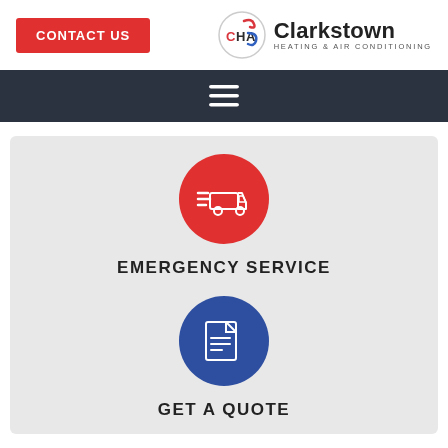[Figure (logo): Clarkstown Heating & Air Conditioning logo with CHA emblem]
[Figure (screenshot): Navigation bar with hamburger menu icon on dark background]
[Figure (illustration): Red circle with white delivery truck icon representing Emergency Service]
EMERGENCY SERVICE
[Figure (illustration): Blue circle with white document/quote icon representing Get A Quote]
GET A QUOTE